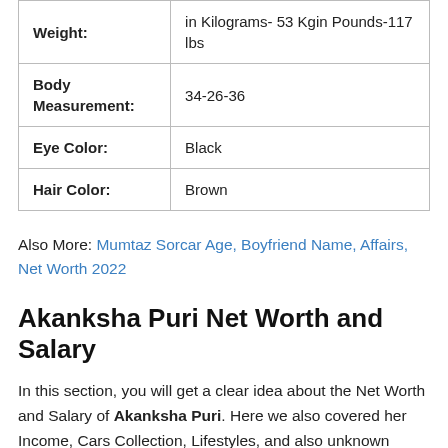| Attribute | Value |
| --- | --- |
| Weight: | in Kilograms- 53 Kgin Pounds-117 lbs |
| Body Measurement: | 34-26-36 |
| Eye Color: | Black |
| Hair Color: | Brown |
Also More: Mumtaz Sorcar Age, Boyfriend Name, Affairs, Net Worth 2022
Akanksha Puri Net Worth and Salary
In this section, you will get a clear idea about the Net Worth and Salary of Akanksha Puri. Here we also covered her Income, Cars Collection, Lifestyles, and also unknown facts.